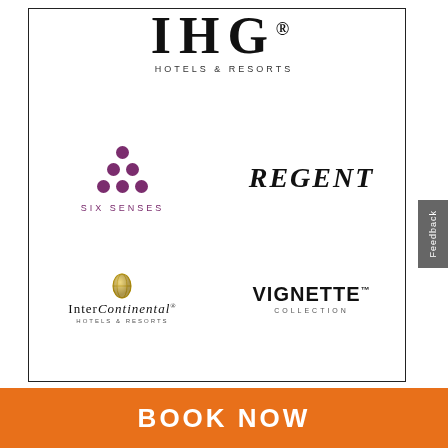[Figure (logo): IHG Hotels & Resorts master logo with decorative horizontal lines]
[Figure (logo): Six Senses logo: six purple dots arranged in triangular pattern above text SIX SENSES in purple letters]
[Figure (logo): REGENT in large serif italic bold black letters]
[Figure (logo): InterContinental Hotels & Resorts logo with golden globe icon]
[Figure (logo): VIGNETTE COLLECTION in bold black sans-serif letters]
[Figure (logo): KIMPTON HOTELS & RESTAURANTS in dark serif letters]
[Figure (logo): HOTEL INDIGO in bold dark blue sans-serif letters]
BOOK NOW